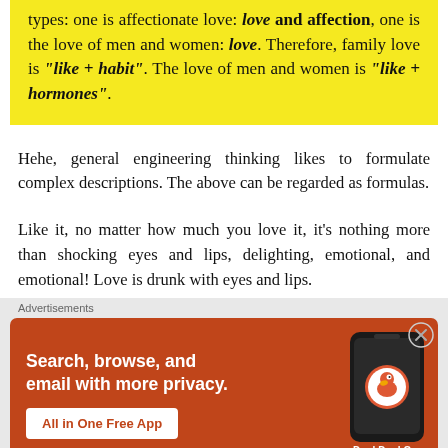types: one is affectionate love: love and affection, one is the love of men and women: love. Therefore, family love is "like + habit". The love of men and women is "like + hormones".
Hehe, general engineering thinking likes to formulate complex descriptions. The above can be regarded as formulas.
Like it, no matter how much you love it, it's nothing more than shocking eyes and lips, delighting, emotional, and emotional! Love is drunk with eyes and lips.
[Figure (screenshot): DuckDuckGo advertisement banner with orange/red background. Text: Search, browse, and email with more privacy. All in One Free App. Shows a phone with DuckDuckGo logo.]